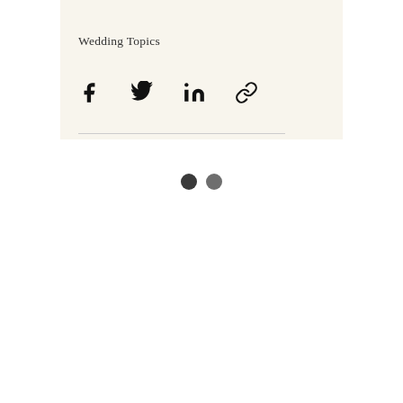Wedding Topics
[Figure (infographic): Social sharing icons: Facebook, Twitter, LinkedIn, and a chain/link icon arranged horizontally]
[Figure (infographic): Two dots (pagination or loading indicator): one dark filled circle and one slightly lighter filled circle side by side]